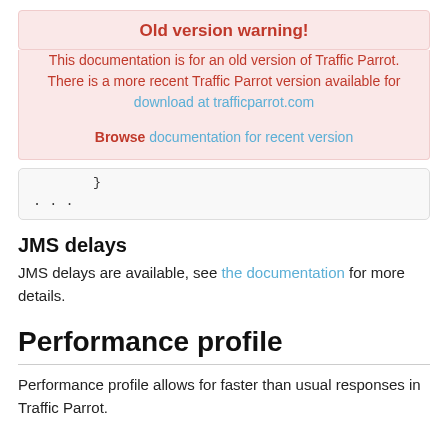Old version warning!
This documentation is for an old version of Traffic Parrot. There is a more recent Traffic Parrot version available for download at trafficparrot.com
Browse documentation for recent version
}
...
JMS delays
JMS delays are available, see the documentation for more details.
Performance profile
Performance profile allows for faster than usual responses in Traffic Parrot.